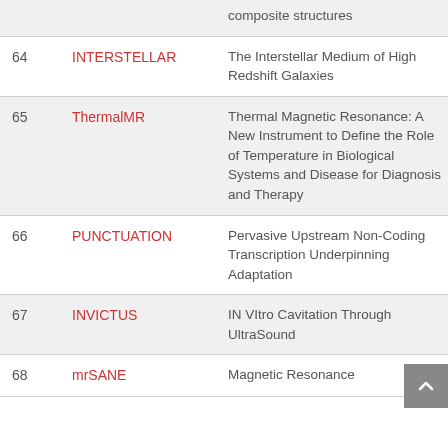| # | Short Name | Description |
| --- | --- | --- |
|  |  | composite structures |
| 64 | INTERSTELLAR | The Interstellar Medium of High Redshift Galaxies |
| 65 | ThermalMR | Thermal Magnetic Resonance: A New Instrument to Define the Role of Temperature in Biological Systems and Disease for Diagnosis and Therapy |
| 66 | PUNCTUATION | Pervasive Upstream Non-Coding Transcription Underpinning Adaptation |
| 67 | INVICTUS | IN VItro Cavitation Through UltraSound |
| 68 | mrSANE | Magnetic Resonance |